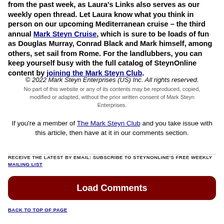from the past week, as Laura's Links also serves as our weekly open thread. Let Laura know what you think in person on our upcoming Mediterranean cruise – the third annual Mark Steyn Cruise, which is sure to be loads of fun as Douglas Murray, Conrad Black and Mark himself, among others, set sail from Rome. For the landlubbers, you can keep yourself busy with the full catalog of SteynOnline content by joining the Mark Steyn Club.
© 2022 Mark Steyn Enterprises (US) Inc. All rights reserved.
No part of this website or any of its contents may be reproduced, copied, modified or adapted, without the prior written consent of Mark Steyn Enterprises.
If you're a member of The Mark Steyn Club and you take issue with this article, then have at it in our comments section.
RECEIVE THE LATEST BY EMAIL: SUBSCRIBE TO STEYNONLINE'S FREE WEEKLY MAILING LIST
Load Comments
BACK TO TOP OF PAGE